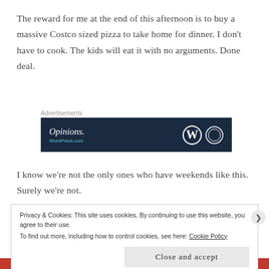The reward for me at the end of this afternoon is to buy a massive Costco sized pizza to take home for dinner. I don't have to cook. The kids will eat it with no arguments. Done deal.
Advertisements
[Figure (screenshot): Dark navy advertisement banner showing 'Opinions.' in italic text on the left and WordPress logo (W circle) and another circular logo on the right, with light blue subtext beneath 'Opinions.']
I know we're not the only ones who have weekends like this. Surely we're not.
Privacy & Cookies: This site uses cookies. By continuing to use this website, you agree to their use.
To find out more, including how to control cookies, see here: Cookie Policy
Close and accept